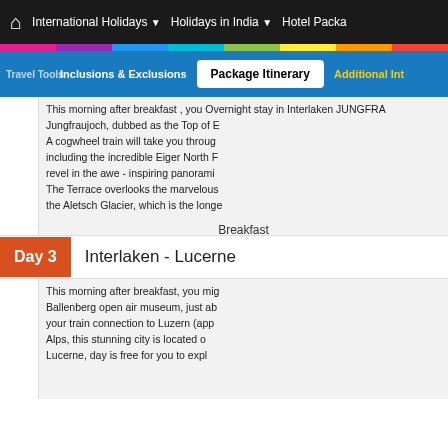International Holidays | Holidays in India | Hotel Packa...
Inclusions & Exclusions | Package Itinerary | Additional Int...
This morning after breakfast , you ... Overnight stay in Interlaken JUNGFRA... Jungfraujoch, dubbed as the Top of E... A cogwheel train will take you throug... including the incredible Eiger North F... revel in the awe - inspiring panoramic... The Terrace overlooks the marvelous... the Aletsch Glacier, which is the longe...
Breakfast
Day 3   Interlaken - Lucerne
This morning after breakfast, you mig... Ballenberg open air museum, just ab... your train connection to Luzern (app... Alps, this stunning city is located o... Lucerne, day is free for you to expl...